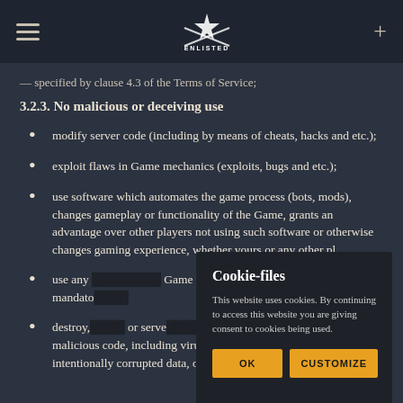ENLISTED (logo navigation bar)
specified by clause 4.3 of the Terms of Service;
3.2.3. No malicious or deceiving use
modify server code (including by means of cheats, hacks and etc.);
exploit flaws in Game mechanics (exploits, bugs and etc.);
use software which automates the game process (bots, mods), changes gameplay or functionality of the Game, grants an advantage over other players not using such software or otherwise changes gaming experience, whether yours or any other pl...
use any ... Game wh... or relate... mandato...
destroy, ... or serve... upload any files that contain malicious code, including viruses, spyware, trojans, worms, intentionally corrupted data, or any
Cookie-files

This website uses cookies. By continuing to access this website you are giving consent to cookies being used.

OK    CUSTOMIZE